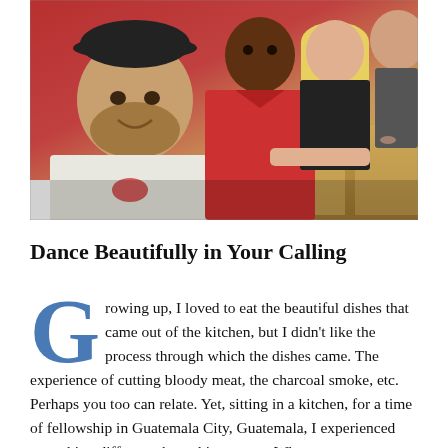[Figure (photo): Group of people sitting at a long table in a restaurant or dining setting. A young bearded man in a white t-shirt is in the foreground, smiling at the camera. Behind him is a tall man in a red shirt, a blonde woman, and another woman. The background wall is red.]
Dance Beautifully in Your Calling
Growing up, I loved to eat the beautiful dishes that came out of the kitchen, but I didn't like the process through which the dishes came. The experience of cutting bloody meat, the charcoal smoke, etc. Perhaps you too can relate. Yet, sitting in a kitchen, for a time of fellowship in Guatemala City, Guatemala, I experienced something different about this process. Why